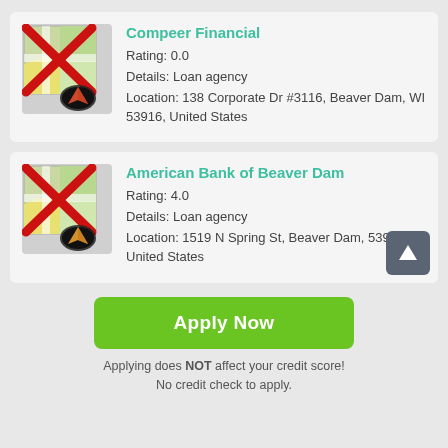[Figure (other): Map placeholder icon with red X cross and navigation arrow overlay]
Compeer Financial
Rating: 0.0
Details: Loan agency
Location: 138 Corporate Dr #3116, Beaver Dam, WI 53916, United States
[Figure (other): Map placeholder icon with red X cross and navigation arrow overlay]
American Bank of Beaver Dam
Rating: 4.0
Details: Loan agency
Location: 1519 N Spring St, Beaver Dam, 53916, United States
Apply Now
Applying does NOT affect your credit score!
No credit check to apply.